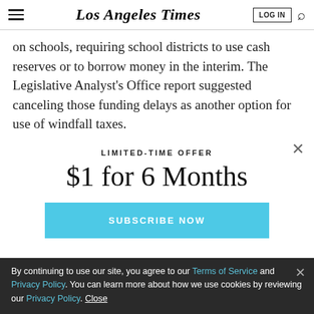Los Angeles Times | LOG IN | Search
on schools, requiring school districts to use cash reserves or to borrow money in the interim. The Legislative Analyst's Office report suggested canceling those funding delays as another option for use of windfall taxes.
LIMITED-TIME OFFER
$1 for 6 Months
SUBSCRIBE NOW
By continuing to use our site, you agree to our Terms of Service and Privacy Policy. You can learn more about how we use cookies by reviewing our Privacy Policy. Close